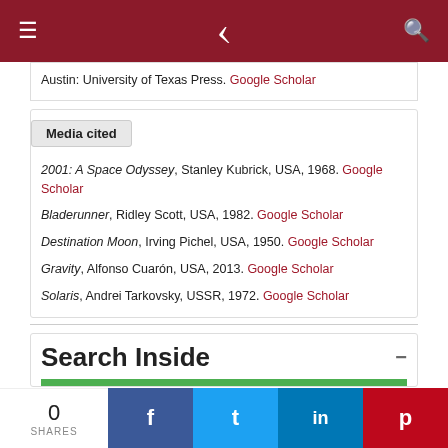≡  )  🔍
Austin: University of Texas Press. Google Scholar
Media cited
2001: A Space Odyssey, Stanley Kubrick, USA, 1968. Google Scholar
Bladerunner, Ridley Scott, USA, 1982. Google Scholar
Destination Moon, Irving Pichel, USA, 1950. Google Scholar
Gravity, Alfonso Cuarón, USA, 2013. Google Scholar
Solaris, Andrei Tarkovsky, USSR, 1972. Google Scholar
Search Inside
0 SHARES